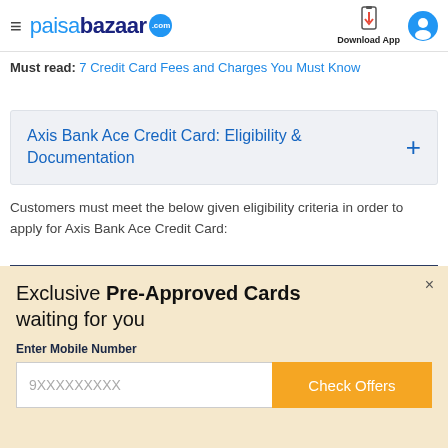paisabazaar.com | Download App
Must read: 7 Credit Card Fees and Charges You Must Know
Axis Bank Ace Credit Card: Eligibility & Documentation
Customers must meet the below given eligibility criteria in order to apply for Axis Bank Ace Credit Card:
| Criteria | Details |
| --- | --- |
Exclusive Pre-Approved Cards waiting for you
Enter Mobile Number
9XXXXXXXXX | Check Offers